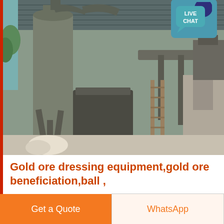[Figure (photo): Industrial ball mill / ore dressing equipment inside a large warehouse with corrugated metal roof. Heavy grey industrial machinery with cyclone dust collectors and conveyor systems visible.]
Gold ore dressing equipment,gold ore beneficiation,ball ,
Ball mill for gold ore dressing equipment 11-23-20; 33 Views; icon 0 When buying ball mills for gold ore beneficiation equipment, you need to understand the industry...
Get a Quote
WhatsApp